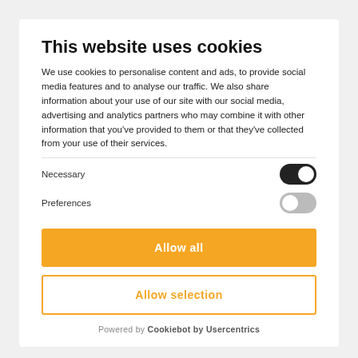This website uses cookies
We use cookies to personalise content and ads, to provide social media features and to analyse our traffic. We also share information about your use of our site with our social media, advertising and analytics partners who may combine it with other information that you've provided to them or that they've collected from your use of their services.
Necessary (toggle: on)
Preferences (toggle: off)
Allow all
Allow selection
Powered by Cookiebot by Usercentrics